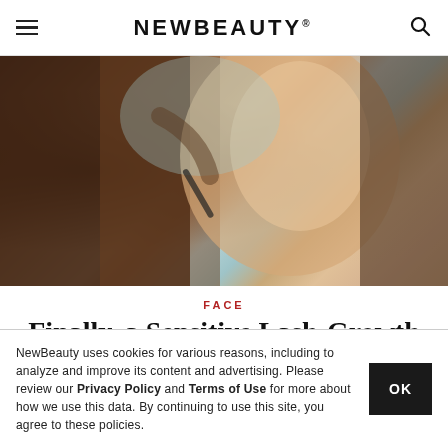NEWBEAUTY
[Figure (photo): Woman applying mascara while looking in a mirror, holding mascara wand near her eye, brown hair, neutral background]
FACE
Finally, a Sensitive Lash-Growth Serum Is Here
NewBeauty uses cookies for various reasons, including to analyze and improve its content and advertising. Please review our Privacy Policy and Terms of Use for more about how we use this data. By continuing to use this site, you agree to these policies.